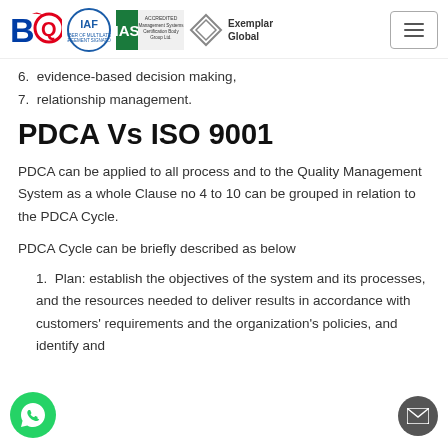BQR IAF IAS Accredited Exemplar Global logos and navigation
6.  evidence-based decision making,
7.  relationship management.
PDCA Vs ISO 9001
PDCA can be applied to all process and to the Quality Management System as a whole Clause no 4 to 10 can be grouped in relation to the PDCA Cycle.
PDCA Cycle can be briefly described as below
1. Plan: establish the objectives of the system and its processes, and the resources needed to deliver results in accordance with customers' requirements and the organization's policies, and identify and